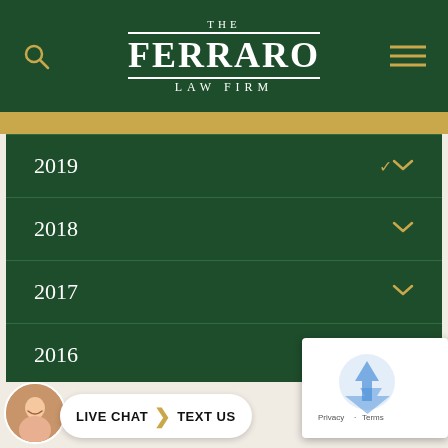[Figure (logo): The Ferraro Law Firm logo in white on dark green header with search icon and hamburger menu]
2019
2018
2017
2016
2015
[Figure (screenshot): Google reCAPTCHA widget overlay in bottom right corner showing Privacy and Terms links]
LIVE CHAT  TEXT US